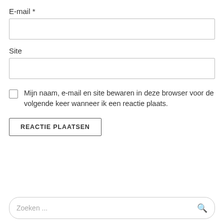E-mail *
Site
Mijn naam, e-mail en site bewaren in deze browser voor de volgende keer wanneer ik een reactie plaats.
REACTIE PLAATSEN
Zoeken ...